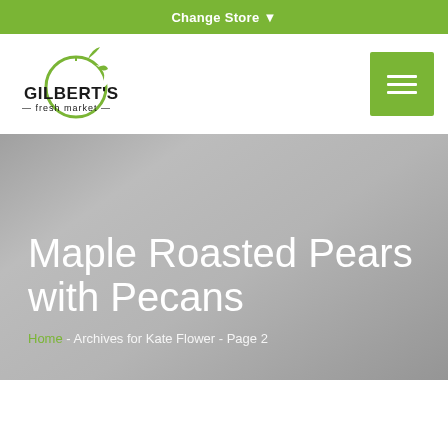Change Store
[Figure (logo): Gilbert's Fresh Market logo with circular apple/leaf icon]
Maple Roasted Pears with Pecans
Home - Archives for Kate Flower - Page 2